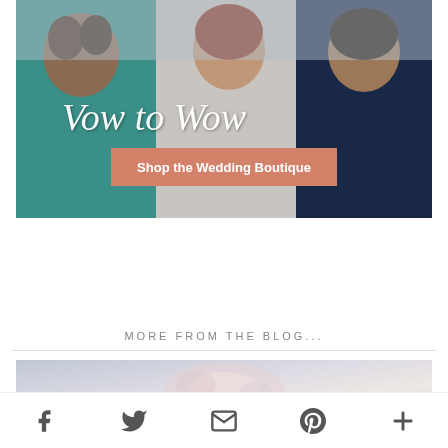[Figure (photo): Promotional banner image showing three women in formal dresses laughing together, with overlaid script text 'Vow to Wow' and a salmon-colored button reading 'Shop the Wedding Boutique']
MORE FROM THE BLOG...
[Figure (photo): Soft-focus blog preview image with floral/pastel tones]
Social share bar with Facebook, Twitter, Email, Pinterest, and More icons